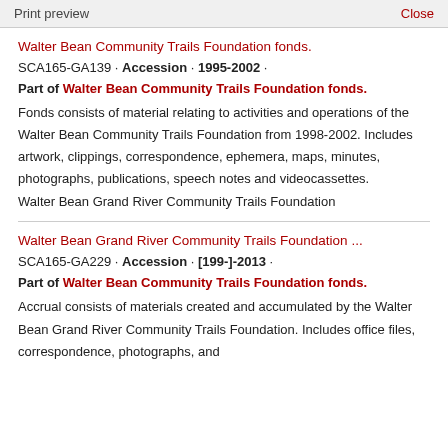Print preview   Close
Walter Bean Community Trails Foundation fonds.
SCA165-GA139 · Accession · 1995-2002 ·
Part of Walter Bean Community Trails Foundation fonds.
Fonds consists of material relating to activities and operations of the Walter Bean Community Trails Foundation from 1998-2002. Includes artwork, clippings, correspondence, ephemera, maps, minutes, photographs, publications, speech notes and videocassettes.
Walter Bean Grand River Community Trails Foundation
Walter Bean Grand River Community Trails Foundation ...
SCA165-GA229 · Accession · [199-]-2013 ·
Part of Walter Bean Community Trails Foundation fonds.
Accrual consists of materials created and accumulated by the Walter Bean Grand River Community Trails Foundation. Includes office files, correspondence, photographs, and